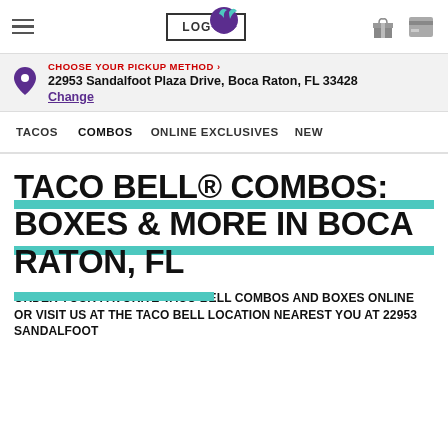LOG IN | Taco Bell logo | icons
CHOOSE YOUR PICKUP METHOD › 22953 Sandalfoot Plaza Drive, Boca Raton, FL 33428 Change
TACOS | COMBOS | ONLINE EXCLUSIVES | NEW
TACO BELL® COMBOS: BOXES & MORE IN BOCA RATON, FL
ORDER YOUR FAVORITE TACO BELL COMBOS AND BOXES ONLINE OR VISIT US AT THE TACO BELL LOCATION NEAREST YOU AT 22953 SANDALFOOT